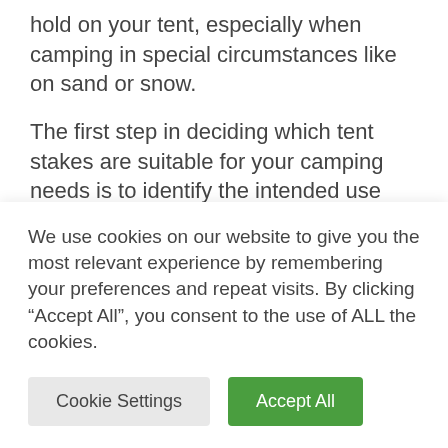hold on your tent, especially when camping in special circumstances like on sand or snow.
The first step in deciding which tent stakes are suitable for your camping needs is to identify the intended use and the type of ground. Stakes or anchors that work best for soft ground like sand will not work well in rocky or hard ground areas. Your budget may also play a role in the types of stakes you buy. Whatever the case may be, we made sure
We use cookies on our website to give you the most relevant experience by remembering your preferences and repeat visits. By clicking “Accept All”, you consent to the use of ALL the cookies.